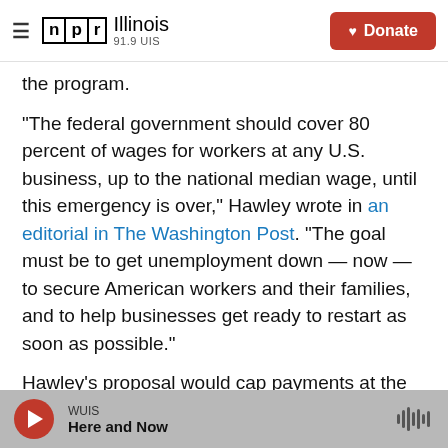NPR Illinois 91.9 UIS | Donate
the program.
"The federal government should cover 80 percent of wages for workers at any U.S. business, up to the national median wage, until this emergency is over," Hawley wrote in an editorial in The Washington Post. "The goal must be to get unemployment down — now — to secure American workers and their families, and to help businesses get ready to restart as soon as possible."
Hawley's proposal would cap payments at the national median income level. The median income
WUIS | Here and Now